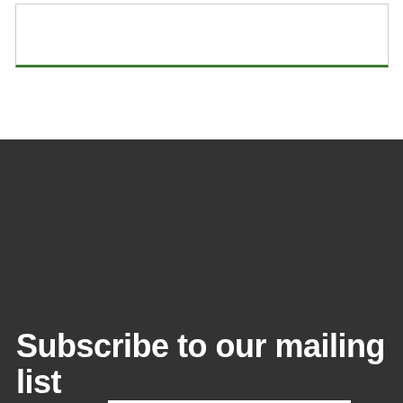[Figure (screenshot): A card/widget box with a green bottom border on a white background]
Subscribe to our mailing list
Email Address
First Name
SUBSCRIBE